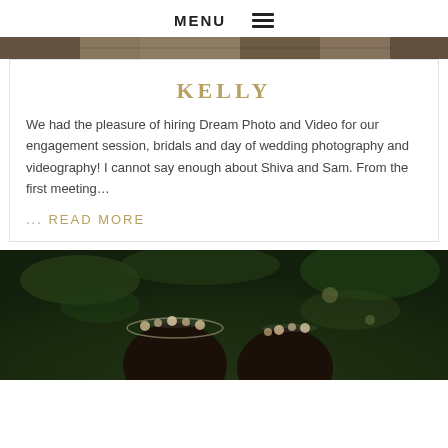MENU ☰
[Figure (photo): Top portion of a decorative/patterned photo partially visible at top of page]
KELLY
We had the pleasure of hiring Dream Photo and Video for our engagement session, bridals and day of wedding photography and videography! I cannot say enough about Shiva and Sam. From the first meeting…
... READ MORE
[Figure (photo): Photo of bridesmaids or wedding party members wearing floral flower crowns, outdoors with green foliage background]